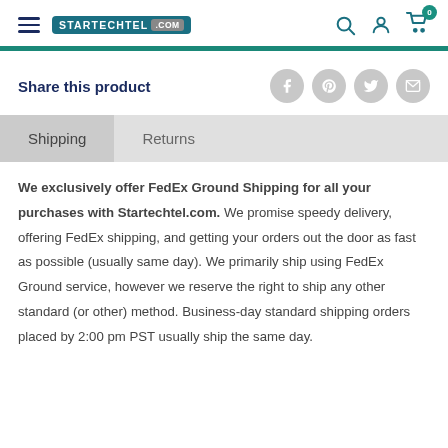STARTECHTEL .COM — navigation header with search, account, and cart icons
Share this product
Shipping | Returns
We exclusively offer FedEx Ground Shipping for all your purchases with Startechtel.com. We promise speedy delivery, offering FedEx shipping, and getting your orders out the door as fast as possible (usually same day). We primarily ship using FedEx Ground service, however we reserve the right to ship any other standard (or other) method. Business-day standard shipping orders placed by 2:00 pm PST usually ship the same day.